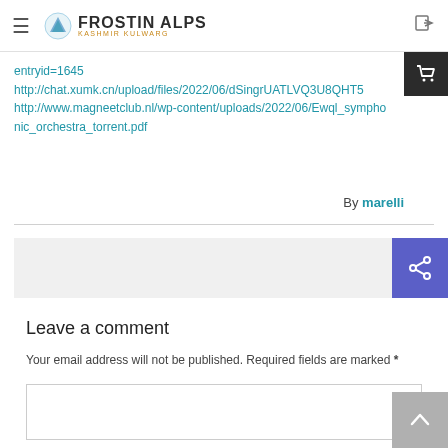FROSTIN ALPS
entryid=1645
http://chat.xumk.cn/upload/files/2022/06/dSingrUATLVQ3U8QHT5...
http://www.magneetclub.nl/wp-content/uploads/2022/06/Ewql_symphonic_orchestra_torrent.pdf...
By marelli
Leave a comment
Your email address will not be published. Required fields are marked *